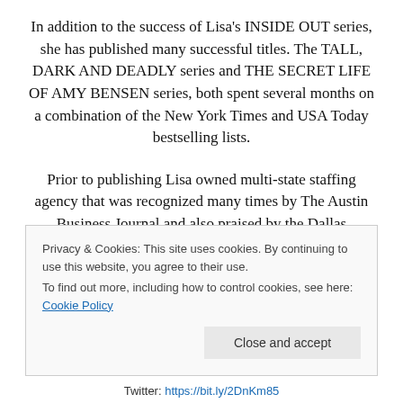In addition to the success of Lisa's INSIDE OUT series, she has published many successful titles. The TALL, DARK AND DEADLY series and THE SECRET LIFE OF AMY BENSEN series, both spent several months on a combination of the New York Times and USA Today bestselling lists.
Prior to publishing Lisa owned multi-state staffing agency that was recognized many times by The Austin Business Journal and also praised by the Dallas Women's Magazine. In 1998 Lisa was listed as the #7 growing...
Privacy & Cookies: This site uses cookies. By continuing to use this website, you agree to their use.
To find out more, including how to control cookies, see here: Cookie Policy
Twitter: https://bit.ly/2DnKm85